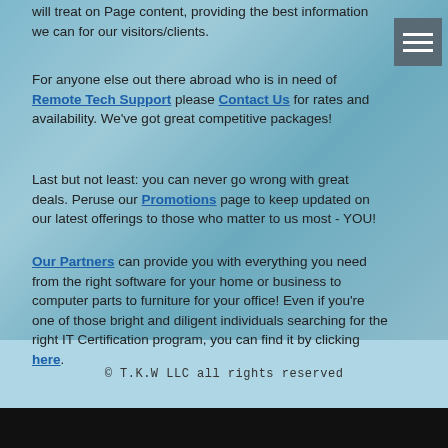will treat on Page content, providing the best information we can for our visitors/clients.
For anyone else out there abroad who is in need of Remote Tech Support please Contact Us for rates and availability. We've got great competitive packages!
Last but not least: you can never go wrong with great deals. Peruse our Promotions page to keep updated on our latest offerings to those who matter to us most - YOU!
Our Partners can provide you with everything you need from the right software for your home or business to computer parts to furniture for your office! Even if you're one of those bright and diligent individuals searching for the right IT Certification program, you can find it by clicking here.
We hope to see you again! Check back later for new updates to our website. There's much more to come!
© T.K.W LLC all rights reserved